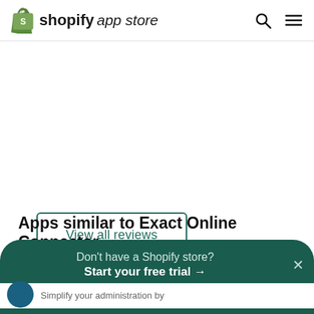Shopify app store
View all reviews
Apps similar to Exact Online Connector
Don't have a Shopify store? Start your free trial →
Simplify your administration by